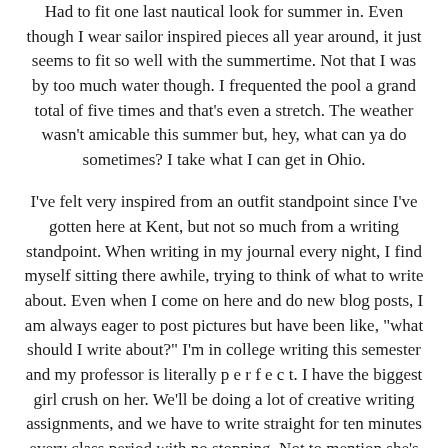Had to fit one last nautical look for summer in. Even though I wear sailor inspired pieces all year around, it just seems to fit so well with the summertime. Not that I was by too much water though. I frequented the pool a grand total of five times and that's even a stretch. The weather wasn't amicable this summer but, hey, what can ya do sometimes? I take what I can get in Ohio.
I've felt very inspired from an outfit standpoint since I've gotten here at Kent, but not so much from a writing standpoint. When writing in my journal every night, I find myself sitting there awhile, trying to think of what to write about. Even when I come on here and do new blog posts, I am always eager to post pictures but have been like, "what should I write about?" I'm in college writing this semester and my professor is literally p e r f e c t. I have the biggest girl crush on her. We'll be doing a lot of creative writing assignments, and we have to write straight for ten minutes every class period with no stopping. Not to mention she's making us use twitter for the class. Too awesome, right?